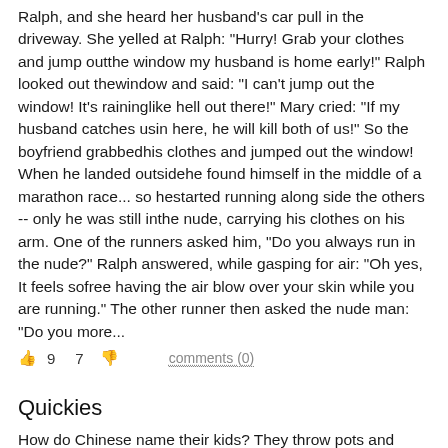Ralph, and she heard her husband's car pull in the driveway. She yelled at Ralph: "Hurry! Grab your clothes and jump outthe window my husband is home early!" Ralph looked out thewindow and said: "I can't jump out the window! It's raininglike hell out there!" Mary cried: "If my husband catches usin here, he will kill both of us!" So the boyfriend grabbedhis clothes and jumped out the window! When he landed outsidehe found himself in the middle of a marathon race... so hestarted running along side the others -- only he was still inthe nude, carrying his clothes on his arm. One of the runners asked him, "Do you always run in the nude?" Ralph answered, while gasping for air: "Oh yes, It feels sofree having the air blow over your skin while you are running." The other runner then asked the nude man: "Do you more...
👍 9   7 👎   comments (0)
Quickies
How do Chinese name their kids? They throw pots and pans down the stairs *Ping, pong, pang* Did you hear about the Chinese girl who won the lottery? She has one fortunate cookie... What do you call a Filipino Contortionist A manila folder. What do you call a